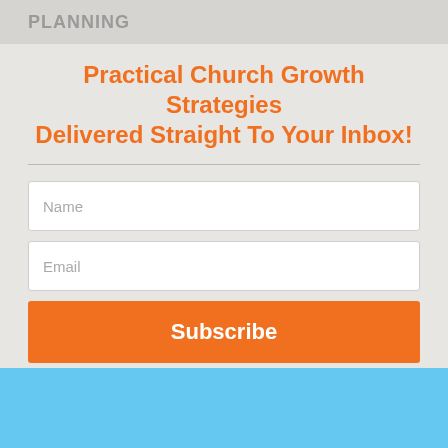PLANNING
Practical Church Growth Strategies Delivered Straight To Your Inbox!
[Figure (screenshot): Newsletter signup form with Name field, Email field, and orange Subscribe button]
[Figure (other): Light blue section at bottom of page]